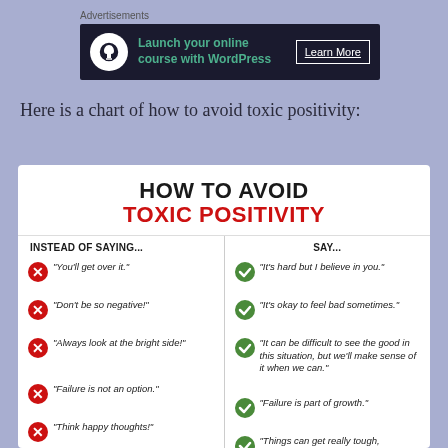[Figure (screenshot): Advertisement banner for launching online course with WordPress]
Here is a chart of how to avoid toxic positivity:
[Figure (infographic): Infographic titled 'HOW TO AVOID TOXIC POSITIVITY' with two columns: 'INSTEAD OF SAYING...' and 'SAY...'. Left column has red X icons with negative phrases: 'You'll get over it.', 'Don't be so negative!', 'Always look at the bright side!', 'Failure is not an option.', 'Think happy thoughts!'. Right column has green checkmark icons with positive alternatives: 'It's hard but I believe in you.', 'It's okay to feel bad sometimes.', 'It can be difficult to see the good in this situation, but we'll make sense of it when we can.', 'Failure is part of growth.', 'Things can get really tough,']